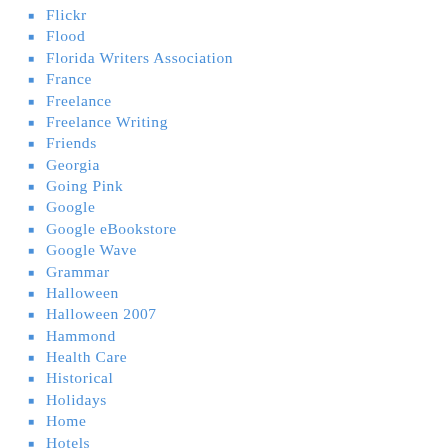Flickr
Flood
Florida Writers Association
France
Freelance
Freelance Writing
Friends
Georgia
Going Pink
Google
Google eBookstore
Google Wave
Grammar
Halloween
Halloween 2007
Hammond
Health Care
Historical
Holidays
Home
Hotels
Humor
Iowa
iPhone
June Foray